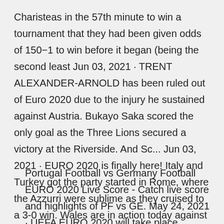Charisteas in the 57th minute to win a tournament that they had been given odds of 150-1 to win before it began (being the second least Jun 03, 2021 · TRENT ALEXANDER-ARNOLD has been ruled out of Euro 2020 due to the injury he sustained against Austria. Bukayo Saka scored the only goal as the Three Lions secured a victory at the Riverside. And Sc... Jun 03, 2021 · EURO 2020 is finally here! Italy and Turkey got the party started in Rome, where the Azzurri were sublime as they cruised to a 3-0 win. Wales are in action today against Switzerland, while England ... · Munich: France and Germany usually play each other in the latter stages of major soccer tournaments. Not this time.
Portugal Football vs Germany Football EURO 2020 Live Score - Catch live score and highlights of PF vs GE. May 24, 2021 · UEFA EURO 2020 will take place